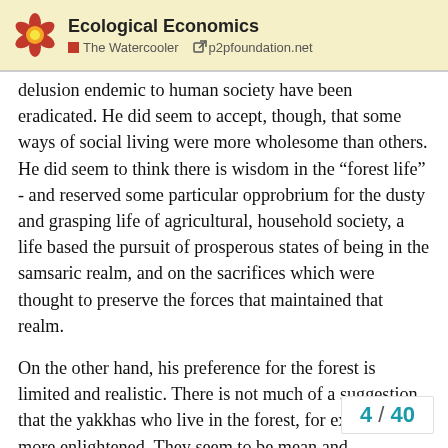Ecological Economics | The Watercooler | p2pfoundation.net
delusion endemic to human society have been eradicated. He did seem to accept, though, that some ways of social living were more wholesome than others. He did seem to think there is wisdom in the “forest life” - and reserved some particular opprobrium for the dusty and grasping life of agricultural, household society, a life based the pursuit of prosperous states of being in the samsaric realm, and on the sacrifices which were thought to preserve the forces that maintained that realm.
On the other hand, his preference for the forest is limited and realistic. There is not much of a suggestion that the yakkhas who live in the forest, for example, are more enlightened. They seem to be mean and mischievous, throw rocks at monks, cast malevolent spells, ask people terrifying riddles and split their heads into pieces if they d...
4 / 40